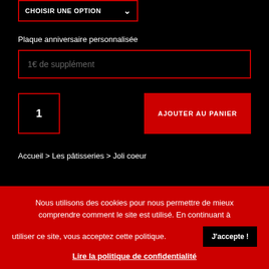CHOISIR UNE OPTION
Plaque anniversaire personnalisée
1€ de supplément
1
AJOUTER AU PANIER
Accueil > Les pâtisseries > Joli coeur
Votre commande sera disponible en retrait ou en livraison
Nous utilisons des cookies pour nous permettre de mieux comprendre comment le site est utilisé. En continuant à utiliser ce site, vous acceptez cette politique.
J'accepte !
Lire la politique de confidentialité